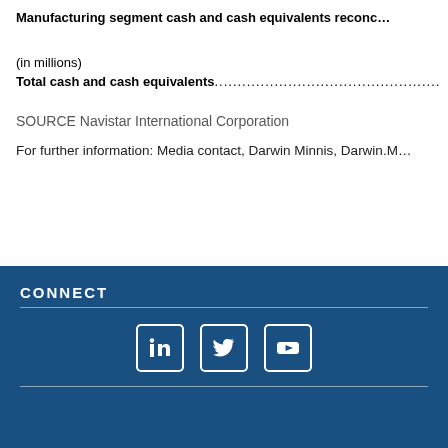Manufacturing segment cash and cash equivalents reconc…
(in millions)
Total cash and cash equivalents....................................................
SOURCE Navistar International Corporation
For further information: Media contact, Darwin Minnis, Darwin.M…
CONNECT
[Figure (infographic): Social media icons: LinkedIn, Twitter, YouTube displayed in white on dark blue background]